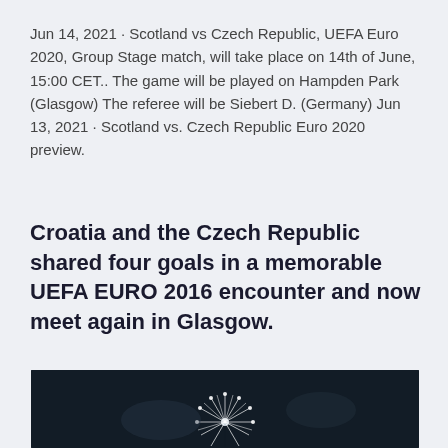Jun 14, 2021 · Scotland vs Czech Republic, UEFA Euro 2020, Group Stage match, will take place on 14th of June, 15:00 CET.. The game will be played on Hampden Park (Glasgow) The referee will be Siebert D. (Germany) Jun 13, 2021 · Scotland vs. Czech Republic Euro 2020 preview.
Croatia and the Czech Republic shared four goals in a memorable UEFA EURO 2016 encounter and now meet again in Glasgow.
[Figure (photo): Dark atmospheric photo showing a white spiky dandelion or similar plant against a dark blurred background]